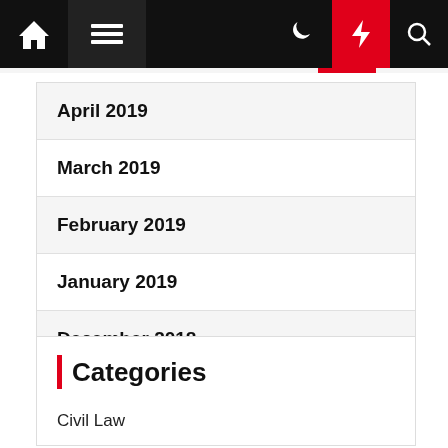Navigation bar with home, menu, moon, lightning, and search icons
April 2019
March 2019
February 2019
January 2019
December 2018
November 2018
Categories
Civil Law